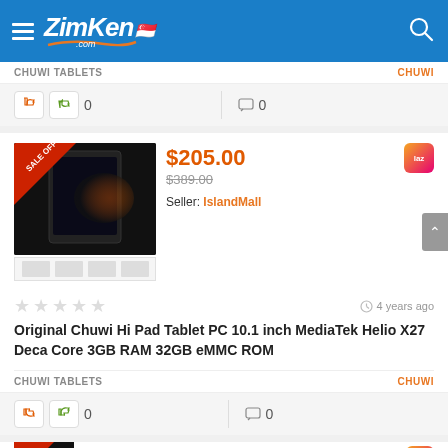[Figure (screenshot): ZimKen.com website header with hamburger menu, logo, Singapore flag, and search icon on blue background]
CHUWI TABLETS
CHUWI
[Figure (infographic): Vote bar with thumbs down (red), thumbs up (green) icons and count 0, and comment icon with count 0]
[Figure (photo): Chuwi Hi Pad Tablet product image with SALE OFF -47% red banner]
$205.00
$389.00
Seller: IslandMall
[Figure (logo): Lazada orange/pink badge logo]
4 years ago
Original Chuwi Hi Pad Tablet PC 10.1 inch MediaTek Helio X27 Deca Core 3GB RAM 32GB eMMC ROM
CHUWI TABLETS
CHUWI
[Figure (infographic): Vote bar with thumbs down (red), thumbs up (green) icons and count 0, and comment icon with count 0]